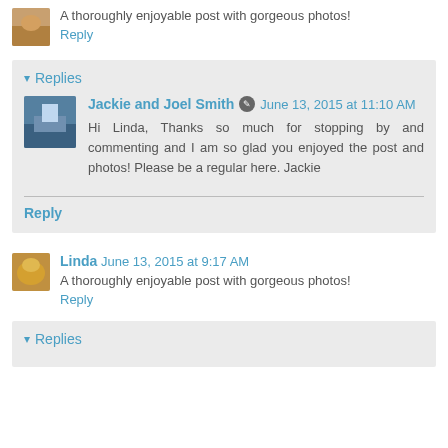A thoroughly enjoyable post with gorgeous photos!
Reply
▾ Replies
Jackie and Joel Smith  June 13, 2015 at 11:10 AM
Hi Linda, Thanks so much for stopping by and commenting and I am so glad you enjoyed the post and photos! Please be a regular here. Jackie
Reply
Linda  June 13, 2015 at 9:17 AM
A thoroughly enjoyable post with gorgeous photos!
Reply
▾ Replies